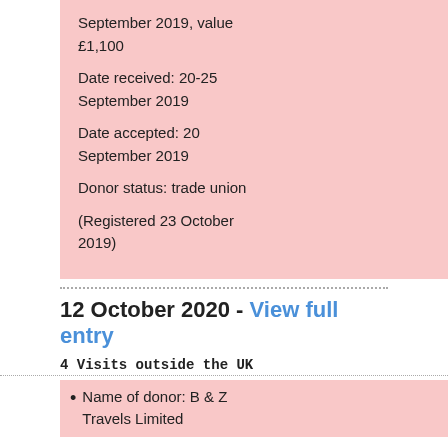September 2019, value £1,100

Date received: 20-25 September 2019

Date accepted: 20 September 2019

Donor status: trade union

(Registered 23 October 2019)
12 October 2020 - View full entry
4 Visits outside the UK
Name of donor: B & Z Travels Limited